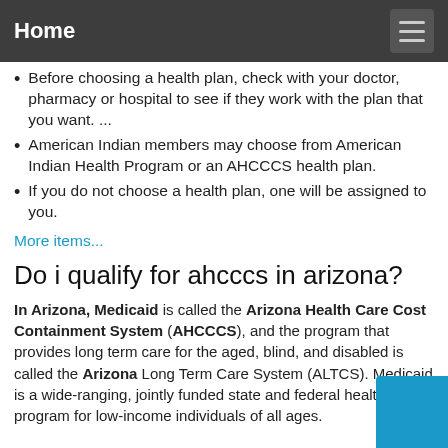Home
Before choosing a health plan, check with your doctor, pharmacy or hospital to see if they work with the plan that you want. ...
American Indian members may choose from American Indian Health Program or an AHCCCS health plan.
If you do not choose a health plan, one will be assigned to you.
More items...
Do i qualify for ahcccs in arizona?
In Arizona, Medicaid is called the Arizona Health Care Cost Containment System (AHCCCS), and the program that provides long term care for the aged, blind, and disabled is called the Arizona Long Term Care System (ALTCS). Medicaid is a wide-ranging, jointly funded state and federal health care program for low-income individuals of all ages.